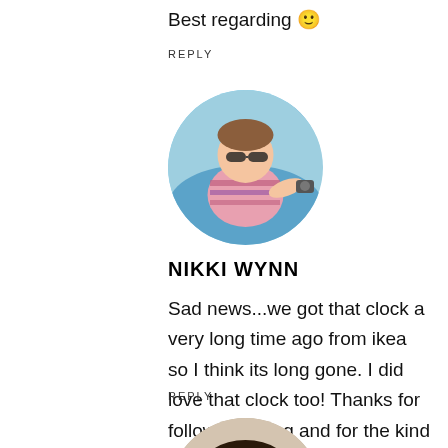Best regarding 🙂
REPLY
[Figure (photo): Circular avatar photo of Nikki Wynn, a woman wearing sunglasses and a striped top, outdoors near water]
NIKKI WYNN
Sad news...we got that clock a very long time ago from ikea so I think its long gone. I did love that clock too! Thanks for following along and for the kind comments!
REPLY
[Figure (photo): Circular avatar photo of a person with dark hair, partially visible at the bottom of the page]